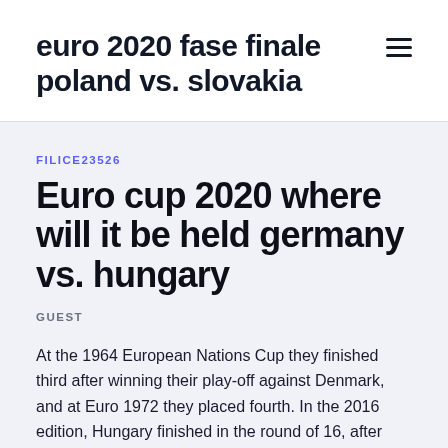euro 2020 fase finale poland vs. slovakia
FILICE23526
Euro cup 2020 where will it be held germany vs. hungary
GUEST
At the 1964 European Nations Cup they finished third after winning their play-off against Denmark, and at Euro 1972 they placed fourth. In the 2016 edition, Hungary finished in the round of 16, after winning the